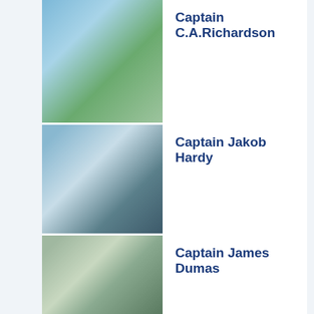[Figure (photo): Photo of Captain C.A.Richardson holding a fish outdoors]
Captain C.A.Richardson
[Figure (photo): Photo of Captain Jakob Hardy on a dock with a fish]
Captain Jakob Hardy
[Figure (photo): Photo of Captain James Dumas on a boat holding a fish]
Captain James Dumas
[Figure (photo): Photo of Captain Keith McBride on a boat with a fish]
Captain Keith McBride
[Figure (photo): Photo of Captain Scott Taylor holding a large fish near water]
Captain Scott Taylor
[Figure (photo): Photo of Chef Aaron, a man in white chef attire against yellow background]
Chef Aaron